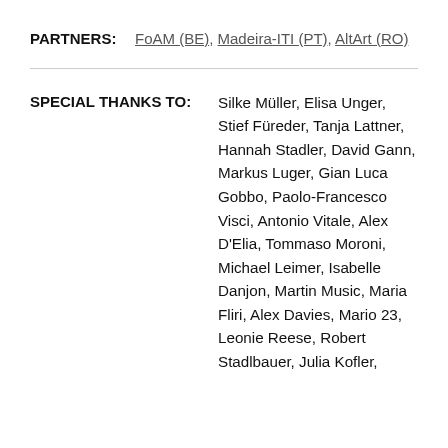PARTNERS: FoAM (BE), Madeira-ITI (PT), AltArt (RO)
SPECIAL THANKS TO: Silke Müller, Elisa Unger, Stief Füreder, Tanja Lattner, Hannah Stadler, David Gann, Markus Luger, Gian Luca Gobbo, Paolo-Francesco Visci, Antonio Vitale, Alex D'Elia, Tommaso Moroni, Michael Leimer, Isabelle Danjon, Martin Music, Maria Fliri, Alex Davies, Mario 23, Leonie Reese, Robert Stadlbauer, Julia Kofler,